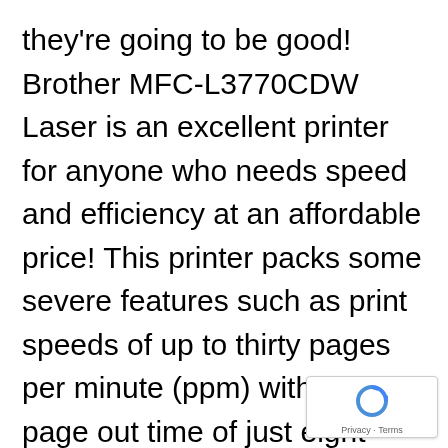they're going to be good! Brother MFC-L3770CDW Laser is an excellent printer for anyone who needs speed and efficiency at an affordable price! This printer packs some severe features such as print speeds of up to thirty pages per minute (ppm) with the first page out time of just eight seconds from sleep mode, automatic duplexing and a new, high-yield toner cartridge which can produce around two thousand pages